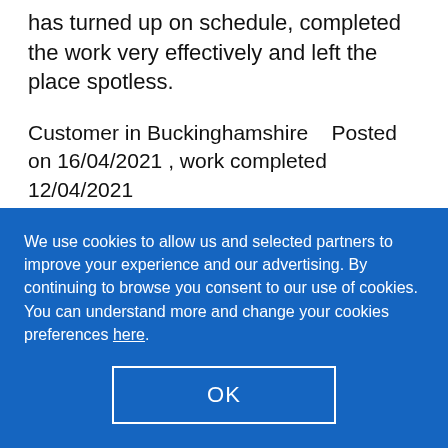has turned up on schedule, completed the work very effectively and left the place spotless.
Customer in Buckinghamshire    Posted on 16/04/2021 , work completed 12/04/2021
Recommended
Customer Service
[Figure (other): Five red stars rating]
We use cookies to allow us and selected partners to improve your experience and our advertising. By continuing to browse you consent to our use of cookies. You can understand more and change your cookies preferences here.
OK